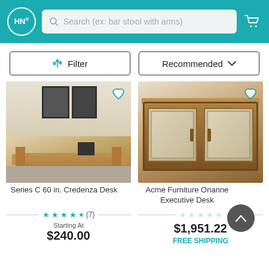HN | Search (ex: bar stool with arms)
Filter | Recommended
[Figure (photo): Series C 60 in. Credenza Desk - a tan/maple wood office desk in a room setting with artwork on walls]
Series C 60 in. Credenza Desk
[Figure (photo): Acme Furniture Orianne Executive Desk - ornate dark wood executive credenza with mirrored panel doors]
Acme Furniture Orianne Executive Desk
★★★★½ (7)
Starting At
$240.00
☆☆☆☆☆
$1,951.22
FREE SHIPPING